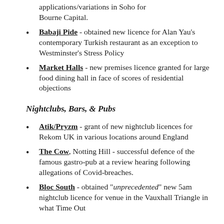applications/variations in Soho for Bourne Capital.
Babaji Pide - obtained new licence for Alan Yau's contemporary Turkish restaurant as an exception to Westminster's Stress Policy
Market Halls - new premises licence granted for large food dining hall in face of scores of residential objections
Nightclubs, Bars, & Pubs
Atik/Pryzm - grant of new nightclub licences for Rekom UK in various locations around England
The Cow, Notting Hill - successful defence of the famous gastro-pub at a review hearing following allegations of Covid-breaches.
Bloc South - obtained "unprecedented" new 5am nightclub licence for venue in the Vauxhall Triangle in what Time Out...